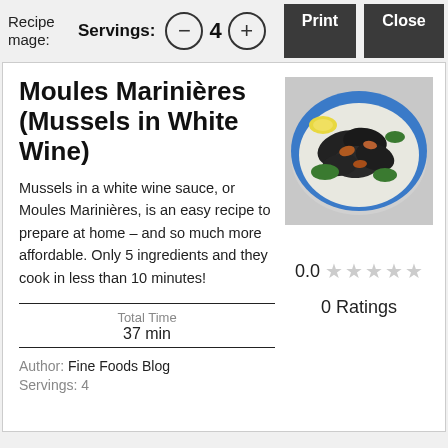Recipe image: | Servings: − 4 + | Print | Close
Moules Marinières (Mussels in White Wine)
Mussels in a white wine sauce, or Moules Marinières, is an easy recipe to prepare at home – and so much more affordable. Only 5 ingredients and they cook in less than 10 minutes!
[Figure (photo): Bowl of mussels in white wine sauce with parsley and lemon]
Total Time
37 min
0.0 ☆☆☆☆☆
0 Ratings
Author: Fine Foods Blog
Servings: 4